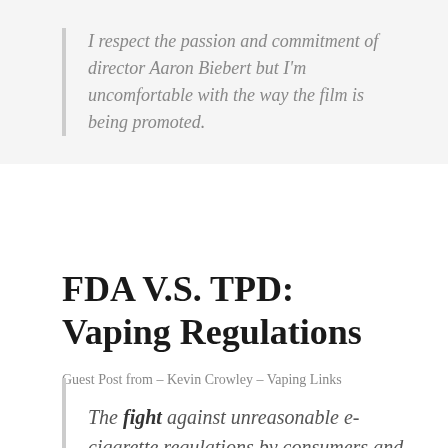I respect the passion and commitment of director Aaron Biebert but I'm uncomfortable with the way the film is being promoted.
FDA V.S. TPD: Vaping Regulations
Guest Post from – Kevin Crowley – Vaping Links
The fight against unreasonable e-cigarette regulations by consumers and organizations have been nothing less than fierce from both sides of the pond. The difference between two continents – allies in the world – is similar,